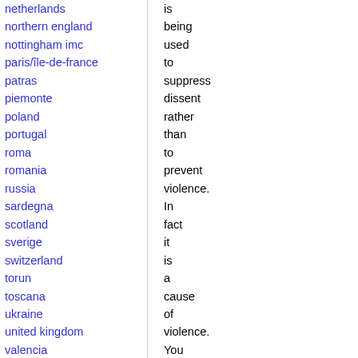netherlands
northern england
nottingham imc
paris/île-de-france
patras
piemonte
poland
portugal
roma
romania
russia
sardegna
scotland
sverige
switzerland
torun
toscana
ukraine
united kingdom
valencia
Latin America
argentina
bolivia
chiapas
chile
chile sur
is being used to suppress dissent rather than to prevent violence. In fact it is a cause of violence. You can join this campaign and vote to